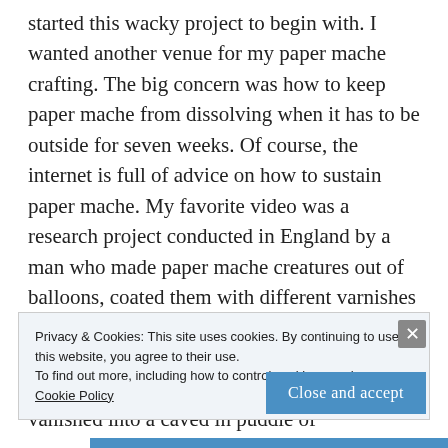started this wacky project to begin with. I wanted another venue for my paper mache crafting. The big concern was how to keep paper mache from dissolving when it has to be outside for seven weeks.  Of course, the internet is full of advice on how to sustain paper mache.  My favorite video was a research project conducted in England by a man who made paper mache creatures out of balloons, coated them with different varnishes  and placed them outside to see which if any of the balloon people could survived England's' notorious wet climate.  Regular varnish vanished into a caved in puddle of
Privacy & Cookies: This site uses cookies. By continuing to use this website, you agree to their use.
To find out more, including how to control cookies, see here: Cookie Policy
Close and accept